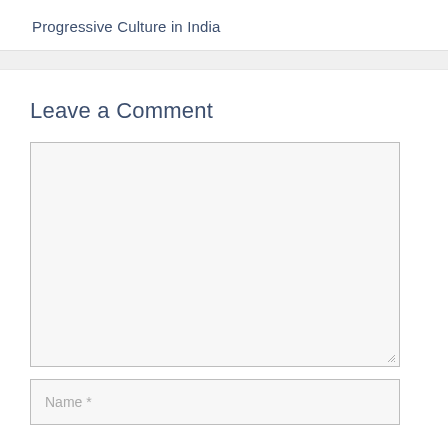Progressive Culture in India
Leave a Comment
[Figure (other): Empty comment textarea input box with resize handle]
[Figure (other): Name input field with placeholder text 'Name *']